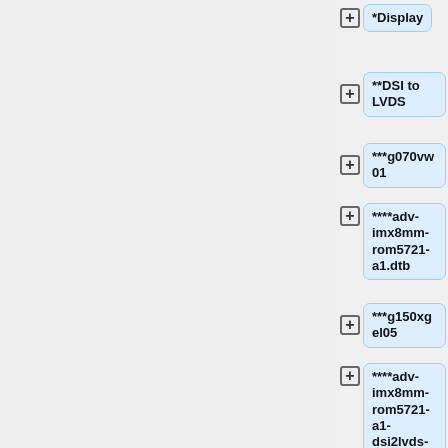*Display
**DSI to LVDS
***g070vw01
****adv-imx8mm-rom5721-a1.dtb
***g150xgel05
****adv-imx8mm-rom5721-a1-dsi2lvds-g150xgel05.dtb
***g215hvn01
****adv-imx8mm-rom5721-a1-dsi2lvds-